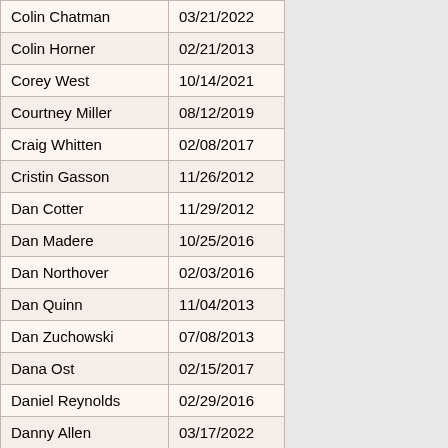| Colin Chatman | 03/21/2022 |
| Colin Horner | 02/21/2013 |
| Corey West | 10/14/2021 |
| Courtney Miller | 08/12/2019 |
| Craig Whitten | 02/08/2017 |
| Cristin Gasson | 11/26/2012 |
| Dan Cotter | 11/29/2012 |
| Dan Madere | 10/25/2016 |
| Dan Northover | 02/03/2016 |
| Dan Quinn | 11/04/2013 |
| Dan Zuchowski | 07/08/2013 |
| Dana Ost | 02/15/2017 |
| Daniel Reynolds | 02/29/2016 |
| Danny Allen | 03/17/2022 |
| Danny Pijeira | 06/05/2019 |
| Dave Hubbard | 02/06/2013 |